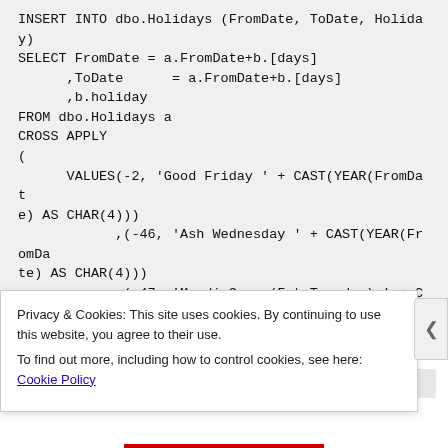INSERT INTO dbo.Holidays (FromDate, ToDate, Holiday)
SELECT FromDate = a.FromDate+b.[days]
      ,ToDate      = a.FromDate+b.[days]
      ,b.holiday
FROM dbo.Holidays a
CROSS APPLY
(
      VALUES(-2, 'Good Friday ' + CAST(YEAR(FromDate) AS CHAR(4)))
            ,(-46, 'Ash Wednesday ' + CAST(YEAR(FromDate) AS CHAR(4)))
            ,(-47, 'Mardi Gras (Fat Tuesday) ' + CAST(YEAR(FromDate) AS CHAR(4)))
)...
Privacy & Cookies: This site uses cookies. By continuing to use this website, you agree to their use.
To find out more, including how to control cookies, see here: Cookie Policy
Close and accept